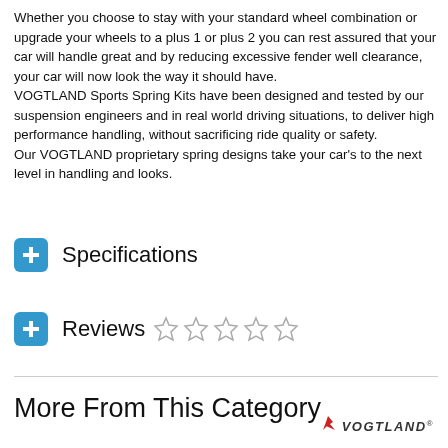Whether you choose to stay with your standard wheel combination or upgrade your wheels to a plus 1 or plus 2 you can rest assured that your car will handle great and by reducing excessive fender well clearance, your car will now look the way it should have. VOGTLAND Sports Spring Kits have been designed and tested by our suspension engineers and in real world driving situations, to deliver high performance handling, without sacrificing ride quality or safety. Our VOGTLAND proprietary spring designs take your car's to the next level in handling and looks.
Specifications
Reviews
More From This Category
[Figure (logo): Vogtland brand logo with flame icon and italic bold text VOGTLAND with registered trademark symbol]